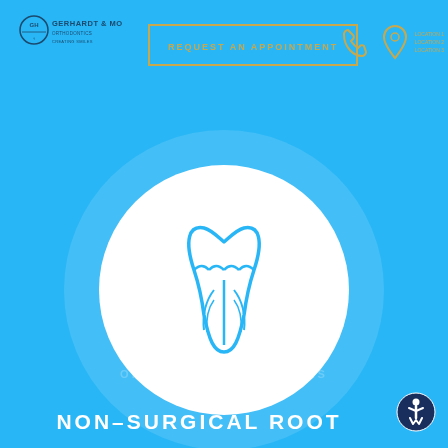[Figure (logo): Gerhardt & Moore dental practice logo with circular emblem and stylized text]
REQUEST AN APPOINTMENT
[Figure (illustration): Phone icon in gold/amber color]
[Figure (illustration): Location pin icon in gold/amber color with address text lines]
[Figure (illustration): White circle containing a blue tooth icon with root canal detail on sky blue background]
ORTHODONTICS / BRACES
NON-SURGICAL ROOT
[Figure (illustration): Accessibility/wheelchair icon in circle, bottom right corner]